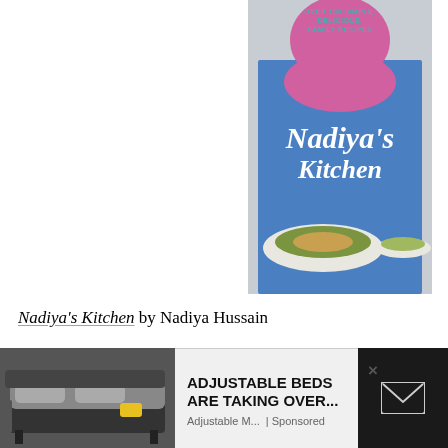[Figure (photo): Book cover of Nadiya's Kitchen by Nadiya Hussain. Features a woman in a blue top and pink hijab holding forks over a large plate of food. Text on cover reads 'OVER 100 SIMPLE, DELICIOUS, FAMILY RECIPES' and 'Nadiya’s Kitchen'.]
Nadiya’s Kitchen by Nadiya Hussain
“From breakfasts to dinners to a cake fit for the Queen. Having fallen in love with Nadiya and her
[Figure (other): Advertisement overlay: An adjustable bed image on the left, text 'ADJUSTABLE BEDS ARE TAKING OVER...' with sponsor 'Adjustable M... | Sponsored' and a close X button. Right side shows a black box with an email/envelope icon.]